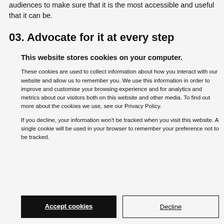audiences to make sure that it is the most accessible and useful that it can be.
03. Advocate for it at every step
This website stores cookies on your computer.
These cookies are used to collect information about how you interact with our website and allow us to remember you. We use this information in order to improve and customise your browsing experience and for analytics and metrics about our visitors both on this website and other media. To find out more about the cookies we use, see our Privacy Policy.
If you decline, your information won't be tracked when you visit this website. A single cookie will be used in your browser to remember your preference not to be tracked.
Accept cookies
Decline